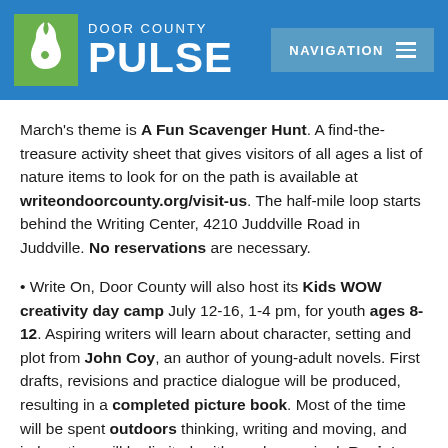[Figure (logo): Door County Pulse website header with green rabbit logo icon on left, 'DOOR COUNTY PULSE' text in white on blue background, and a grey 'NAVIGATION' button with hamburger menu icon on the right]
March's theme is A Fun Scavenger Hunt. A find-the-treasure activity sheet that gives visitors of all ages a list of nature items to look for on the path is available at writeondoorcounty.org/visit-us. The half-mile loop starts behind the Writing Center, 4210 Juddville Road in Juddville. No reservations are necessary.
• Write On, Door County will also host its Kids WOW creativity day camp July 12-16, 1-4 pm, for youth ages 8-12. Aspiring writers will learn about character, setting and plot from John Coy, an author of young-adult novels. First drafts, revisions and practice dialogue will be produced, resulting in a completed picture book. Most of the time will be spent outdoors thinking, writing and moving, and indoor time will be limited, with masks required. Register by April 1 at writeondoorcounty.org for the early-bird rate. Space is limited to 10 students